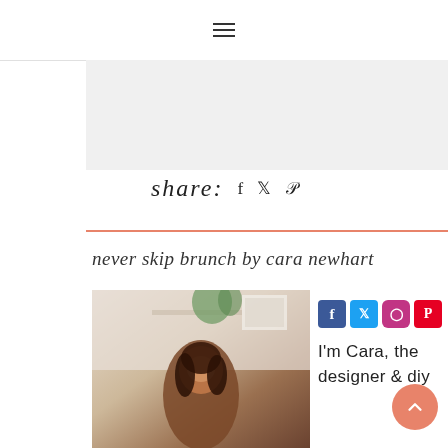≡ (hamburger menu)
[Figure (other): Advertisement / banner area placeholder]
share:  f  ♦  ℘
[Figure (photo): Photo of Cara Newhart, a woman with dark hair, smiling, in a bright home decor setting with plants and shelving]
never skip brunch by cara newhart
[Figure (other): Social media icon row: Facebook (blue), Twitter (light blue), Instagram (pink), Pinterest (red)]
I'm Cara, the designer & diy